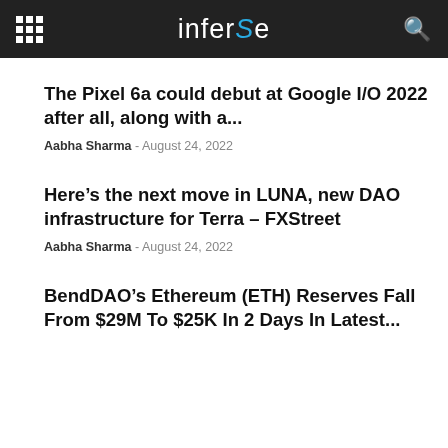inferse
The Pixel 6a could debut at Google I/O 2022 after all, along with a...
Aabha Sharma - August 24, 2022
Here’s the next move in LUNA, new DAO infrastructure for Terra – FXStreet
Aabha Sharma - August 24, 2022
BendDAO’s Ethereum (ETH) Reserves Fall From $29M To $25K In 2 Days In Latest...